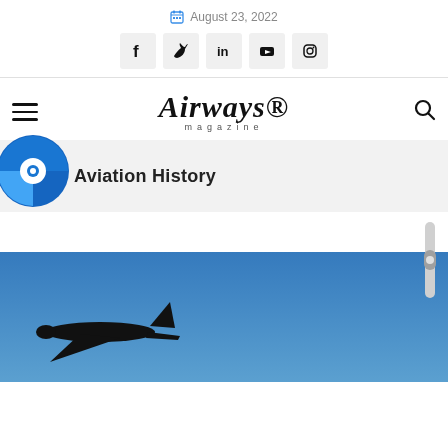August 23, 2022
[Figure (infographic): Social media icons: Facebook, Twitter, LinkedIn, YouTube, Instagram]
[Figure (logo): Airways magazine logo with hamburger menu and search icon]
Aviation History
[Figure (photo): Photo of aircraft silhouetted against blue sky]